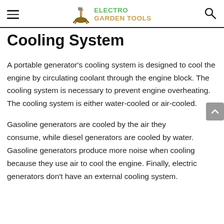ELECTRO GARDEN TOOLS
Cooling System
A portable generator's cooling system is designed to cool the engine by circulating coolant through the engine block. The cooling system is necessary to prevent engine overheating. The cooling system is either water-cooled or air-cooled.
Gasoline generators are cooled by the air they consume, while diesel generators are cooled by water. Gasoline generators produce more noise when cooling because they use air to cool the engine. Finally, electric generators don't have an external cooling system.